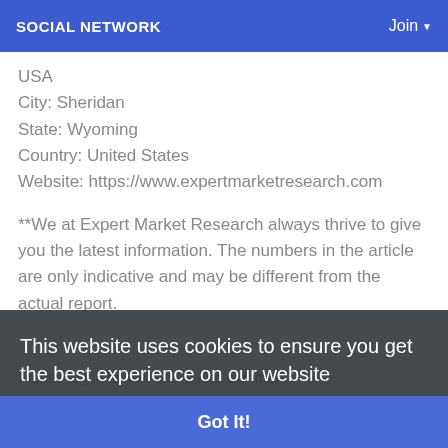SOCIAL NETWORK   Join
USA
City: Sheridan
State: Wyoming
Country: United States
Website: https://www.expertmarketresearch.com
**We at Expert Market Research always thrive to give you the latest information. The numbers in the article are only indicative and may be different from the actual report.
This website uses cookies to ensure you get the best experience on our website
Learn More
Please log in to like, share and comment!
Got It!